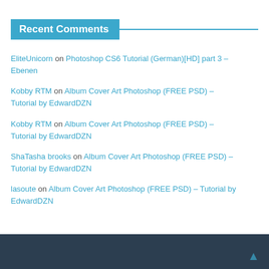Recent Comments
EliteUnicorn on Photoshop CS6 Tutorial (German)[HD] part 3 – Ebenen
Kobby RTM on Album Cover Art Photoshop (FREE PSD) – Tutorial by EdwardDZN
Kobby RTM on Album Cover Art Photoshop (FREE PSD) – Tutorial by EdwardDZN
ShaTasha brooks on Album Cover Art Photoshop (FREE PSD) – Tutorial by EdwardDZN
lasoute on Album Cover Art Photoshop (FREE PSD) – Tutorial by EdwardDZN